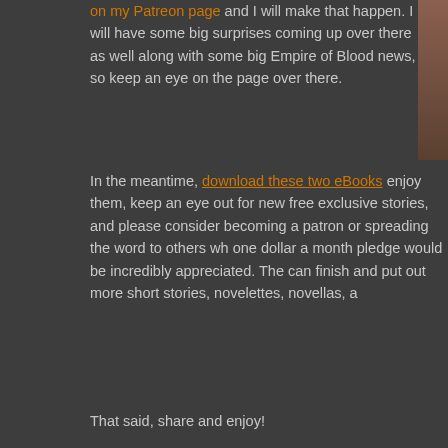on my Patreon page and I will make that happen. I will have some big surprises coming up over there as well along with some big Empire of Blood news, so keep an eye on the page over there.
In the meantime, download these two eBooks enjoy them, keep an eye out for new free exclusive stories, and please consider becoming a patron or spreading the word to others who one dollar a month pledge would be incredibly appreciated. The can finish and put out more short stories, novelettes, novellas, a
That said, share and enjoy!
Posted by robertswilson at 10:10 PM
No comments:
Post a Comment